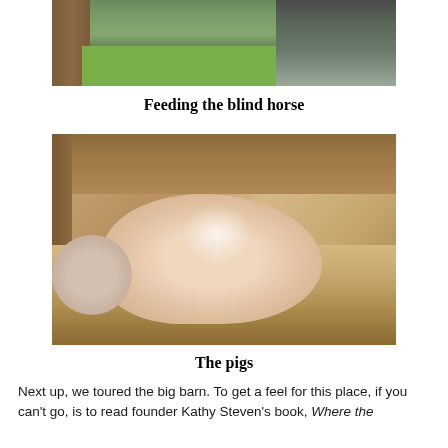[Figure (photo): A person feeding a blind horse near a wooden fence with green grass in the background]
Feeding the blind horse
[Figure (photo): Pigs resting in hay inside a wooden pen or barn enclosure]
The pigs
Next up, we toured the big barn. To get a feel for this place, if you can't go, is to read founder Kathy Steven's book, Where the